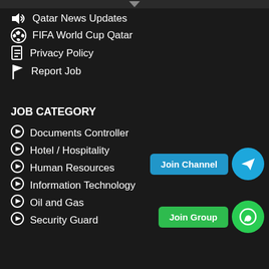Qatar News Updates
FIFA World Cup Qatar
Privacy Policy
Report Job
JOB CATEGORY
Documents Controller
Hotel / Hospitality
Human Resources
Information Technology
Oil and Gas
Security Guard
[Figure (screenshot): Join Channel button with Telegram circle icon]
[Figure (screenshot): Join Group button with WhatsApp circle icon]